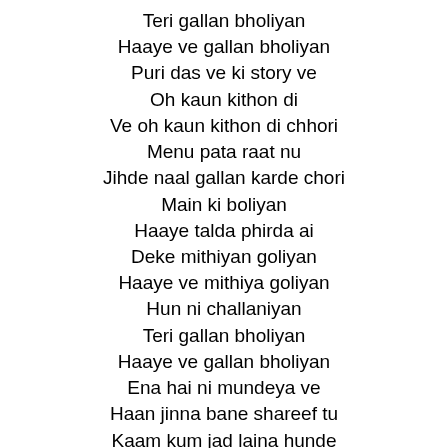Teri gallan bholiyan
Haaye ve gallan bholiyan
Puri das ve ki story ve
Oh kaun kithon di
Ve oh kaun kithon di chhori
Menu pata raat nu
Jihde naal gallan karde chori
Main ki boliyan
Haaye talda phirda ai
Deke mithiyan goliyan
Haaye ve mithiya goliyan
Hun ni challaniyan
Teri gallan bholiyan
Haaye ve gallan bholiyan
Ena hai ni mundeya ve
Haan jinna bane shareef tu
Kaam kum jad laina hunde
Ohdon hi kare tareef tu
Ena hai ni mundeya ve